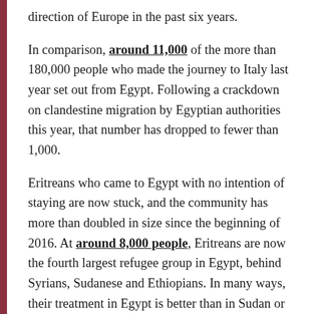direction of Europe in the past six years.
In comparison, around 11,000 of the more than 180,000 people who made the journey to Italy last year set out from Egypt. Following a crackdown on clandestine migration by Egyptian authorities this year, that number has dropped to fewer than 1,000.
Eritreans who came to Egypt with no intention of staying are now stuck, and the community has more than doubled in size since the beginning of 2016. At around 8,000 people, Eritreans are now the fourth largest refugee group in Egypt, behind Syrians, Sudanese and Ethiopians. In many ways, their treatment in Egypt is better than in Sudan or Libya. But refugees here do not have the right